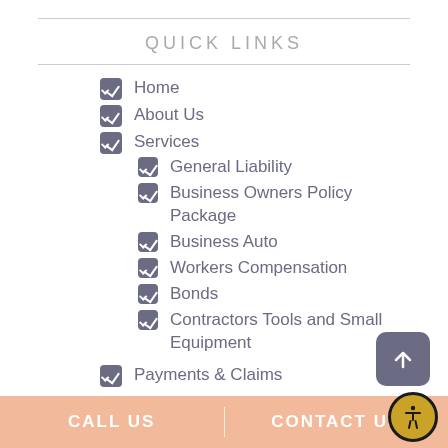QUICK LINKS
Home
About Us
Services
General Liability
Business Owners Policy Package
Business Auto
Workers Compensation
Bonds
Contractors Tools and Small Equipment
Payments & Claims
CALL US | CONTACT US